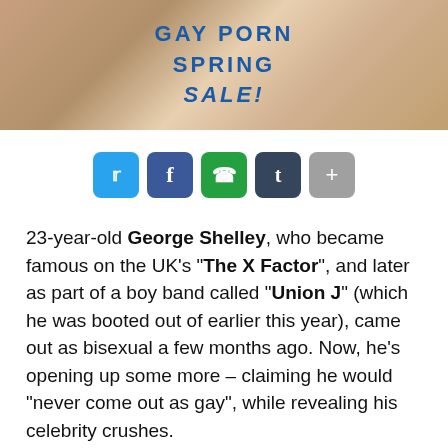[Figure (photo): Banner advertisement with two people and text reading 'GAY PORN SPRING SALE!']
[Figure (infographic): Social media share buttons: Twitter (blue), Facebook (dark blue), WhatsApp (green), Tumblr (dark navy), More/Plus (grey)]
23-year-old George Shelley, who became famous on the UK's "The X Factor", and later as part of a boy band called "Union J" (which he was booted out of earlier this year), came out as bisexual a few months ago. Now, he's opening up some more – claiming he would "never come out as gay", while revealing his celebrity crushes.